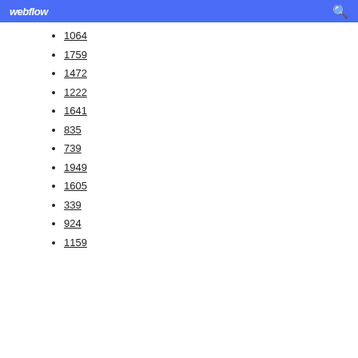webflow
1064
1759
1472
1222
1641
835
739
1949
1605
339
924
1159